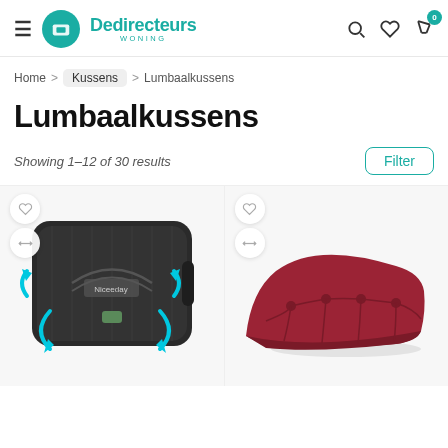Dedirecteurs WONING
Home > Kussens > Lumbaalkussens
Lumbaalkussens
Showing 1–12 of 30 results
[Figure (photo): Black lumbar support cushion with blue arrows and Niceeday branding]
[Figure (photo): Red wedge-shaped pillow cushion]